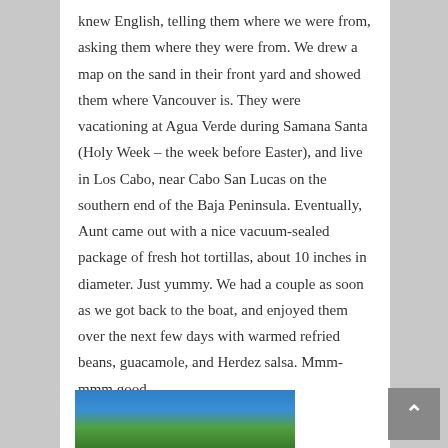knew English, telling them where we were from, asking them where they were from. We drew a map on the sand in their front yard and showed them where Vancouver is. They were vacationing at Agua Verde during Samana Santa (Holy Week – the week before Easter), and live in Los Cabo, near Cabo San Lucas on the southern end of the Baja Peninsula. Eventually, Aunt came out with a nice vacuum-sealed package of fresh hot tortillas, about 10 inches in diameter. Just yummy. We had a couple as soon as we got back to the boat, and enjoyed them over the next few days with warmed refried beans, guacamole, and Herdez salsa. Mmm-mmm good.
[Figure (photo): Partial view of a photo showing blue sky and green tree tops at the bottom of the page]